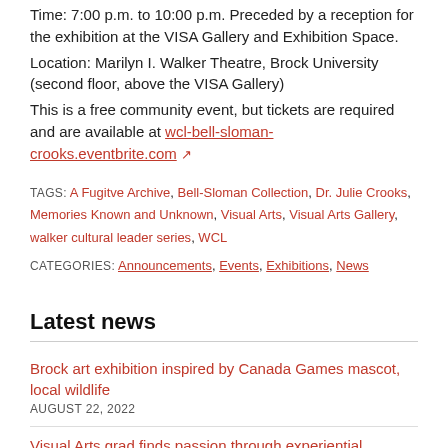Time: 7:00 p.m. to 10:00 p.m. Preceded by a reception for the exhibition at the VISA Gallery and Exhibition Space.
Location: Marilyn I. Walker Theatre, Brock University (second floor, above the VISA Gallery)
This is a free community event, but tickets are required and are available at wcl-bell-sloman-crooks.eventbrite.com
TAGS: A Fugitve Archive, Bell-Sloman Collection, Dr. Julie Crooks, Memories Known and Unknown, Visual Arts, Visual Arts Gallery, walker cultural leader series, WCL
CATEGORIES: Announcements, Events, Exhibitions, News
Latest news
Brock art exhibition inspired by Canada Games mascot, local wildlife — AUGUST 22, 2022
Visual Arts grad finds passion through experiential learning — JULY 6, 2022
STAC student earns recognition for creative projects — APRIL 27, 2022
Student-run podcast provides guidance, inspiration for future artists — APRIL